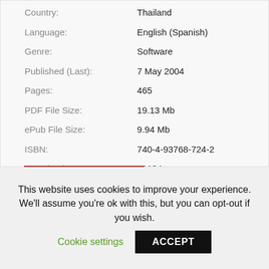| Field | Value |
| --- | --- |
| Country: | Thailand |
| Language: | English (Spanish) |
| Genre: | Software |
| Published (Last): | 7 May 2004 |
| Pages: | 465 |
| PDF File Size: | 19.13 Mb |
| ePub File Size: | 9.94 Mb |
| ISBN: | 740-4-93768-724-2 |
| Downloads: | 11194 |
| Price: | Free* [*Free Regsitration Required] |
| Uploader: | Zuzilkree |
This website uses cookies to improve your experience. We'll assume you're ok with this, but you can opt-out if you wish. Cookie settings ACCEPT